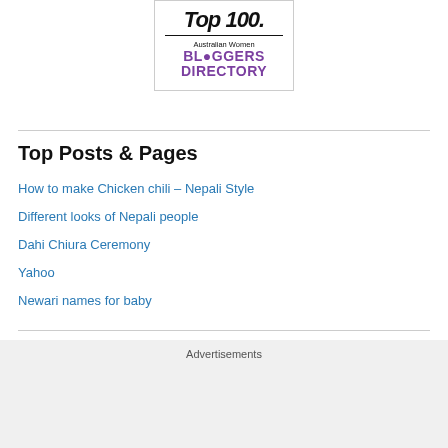[Figure (logo): Australian Women Bloggers Directory logo with Top 100 text above a dividing line, purple BLOGGERS DIRECTORY text below]
Top Posts & Pages
How to make Chicken chili – Nepali Style
Different looks of Nepali people
Dahi Chiura Ceremony
Yahoo
Newari names for baby
Places I have been to
Advertisements